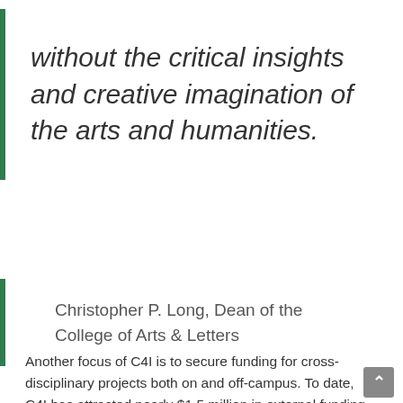without the critical insights and creative imagination of the arts and humanities.
Christopher P. Long, Dean of the College of Arts & Letters
Another focus of C4I is to secure funding for cross-disciplinary projects both on and off-campus. To date, C4I has attracted nearly $1.5 million in external funding with the majority coming from the National Science Foundation (NSF), which has funded several collaborative projects through C4I